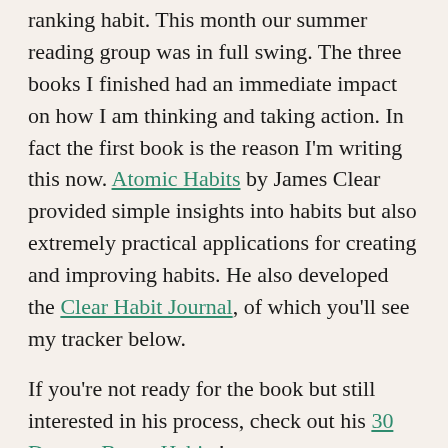ranking habit. This month our summer reading group was in full swing. The three books I finished had an immediate impact on how I am thinking and taking action. In fact the first book is the reason I'm writing this now. Atomic Habits by James Clear provided simple insights into habits but also extremely practical applications for creating and improving habits. He also developed the Clear Habit Journal, of which you'll see my tracker below.
If you're not ready for the book but still interested in his process, check out his 30 Days to Better Habits!
The second book helped to really shine a light on the insecurities and buried fears that I (and others) struggle with on a daily basis. As a recovering perfectionist, Brené Brown's The Gifts of